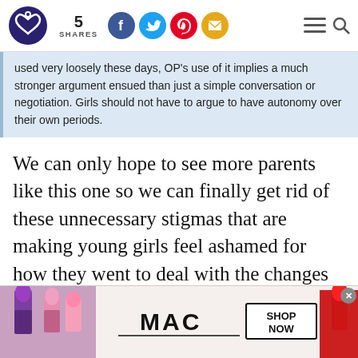5 SHARES [social icons: Facebook, Twitter, Pinterest, Email] [menu] [search]
used very loosely these days, OP's use of it implies a much stronger argument ensued than just a simple conversation or negotiation. Girls should not have to argue to have autonomy over their own periods.
We can only hope to see more parents like this one so we can finally get rid of these unnecessary stigmas that are making young girls feel ashamed for how they went to deal with the changes of their own body.
RELATED: Woman Wonders If She Was Wrong...
[Figure (photo): MAC cosmetics advertisement showing lipsticks in purple, pink, and red with MAC logo and SHOP NOW button]